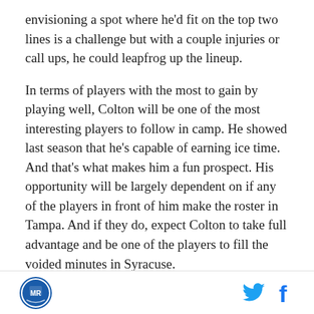envisioning a spot where he'd fit on the top two lines is a challenge but with a couple injuries or call ups, he could leapfrog up the lineup.
In terms of players with the most to gain by playing well, Colton will be one of the most interesting players to follow in camp. He showed last season that he's capable of earning ice time. And that's what makes him a fun prospect. His opportunity will be largely dependent on if any of the players in front of him make the roster in Tampa. And if they do, expect Colton to take full advantage and be one of the players to fill the voided minutes in Syracuse.
The best way for him to keep moving forward is to
[logo] [Twitter icon] [Facebook icon]